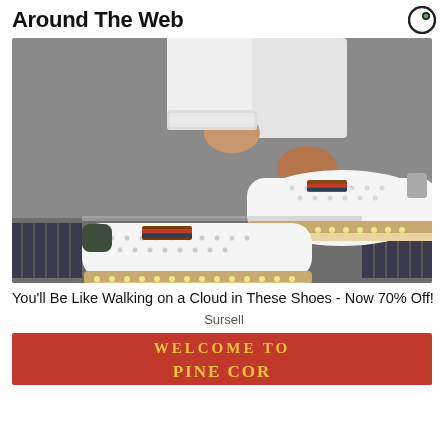Around The Web
[Figure (photo): Close-up photo of a person wearing white perforated slip-on shoes with striped elastic bands and espadrille-style soles, standing on pavement.]
You'll Be Like Walking on a Cloud in These Shoes - Now 70% Off!
Sursell
[Figure (photo): Partial image of a red welcome sign reading WELCOME TO PINE COR...]